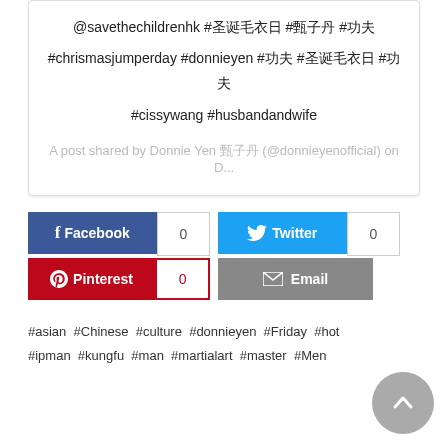@savethechildrenhk #圣诞毛衣日 #甄子丹 #功夫
#chrismasjumperday #donnieyen #功夫 #圣诞毛衣日 #功夫
#cissywang #husbandandwife
A post shared by Donnie Yen 甄子丹 (@donnieyenofficial) on D...
[Figure (other): Social share buttons: Facebook (0), Twitter (0), Pinterest (0), Email]
#asian #Chinese #culture #donnieyen #Friday #hot #ipman #kungfu #man #martialart #master #Men